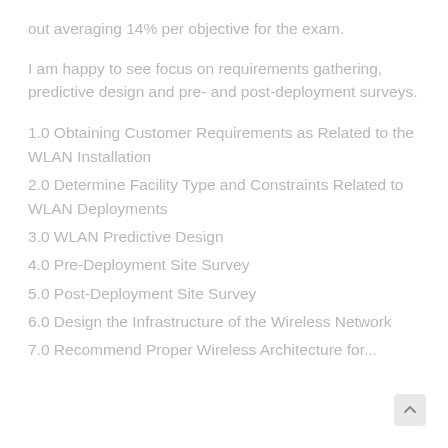out averaging 14% per objective for the exam.
I am happy to see focus on requirements gathering, predictive design and pre- and post-deployment surveys.
1.0 Obtaining Customer Requirements as Related to the WLAN Installation
2.0 Determine Facility Type and Constraints Related to WLAN Deployments
3.0 WLAN Predictive Design
4.0 Pre-Deployment Site Survey
5.0 Post-Deployment Site Survey
6.0 Design the Infrastructure of the Wireless Network
7.0 Recommend Proper Wireless Architecture for...